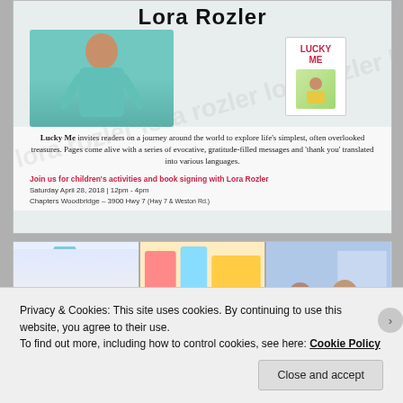[Figure (photo): Book signing flyer for Lora Rozler featuring her photo with her children's book 'Lucky Me', including event description and watermark background text]
Lucky Me invites readers on a journey around the world to explore life's simplest, often overlooked treasures. Pages come alive with a series of evocative, gratitude-filled messages and 'thank you' translated into various languages.
Join us for children's activities and book signing with Lora Rozler
Saturday April 28, 2018 | 12pm - 4pm
Chapters Woodbridge - 3900 Hwy 7 (Hwy 7 & Weston Rd.)
[Figure (photo): Three-panel photo strip showing book signing event at Chapters Woodbridge with colorful children's book displays and attendees]
Privacy & Cookies: This site uses cookies. By continuing to use this website, you agree to their use.
To find out more, including how to control cookies, see here: Cookie Policy
Close and accept